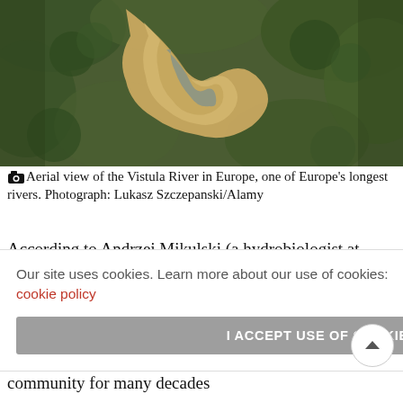[Figure (photo): Aerial view of the Vistula River winding through green forested landscape, photographed from above showing sandy riverbed and surrounding vegetation]
Aerial view of the Vistula River in Europe, one of Europe's longest rivers. Photograph: Lukasz Szczepanski/Alamy
According to Andrzej Mikulski (a hydrobiologist at Warsaw University), all independent environmental NGOs in Poland protested against Siarzewo dam construction. The environmental [impact/situation] is highly [significant, with potential] impact on the [ecosystem, noting] that these [represent] potential risks. [Polish scientific] community for many decades
Our site uses cookies. Learn more about our use of cookies: cookie policy
I ACCEPT USE OF COOKIES
community for many decades